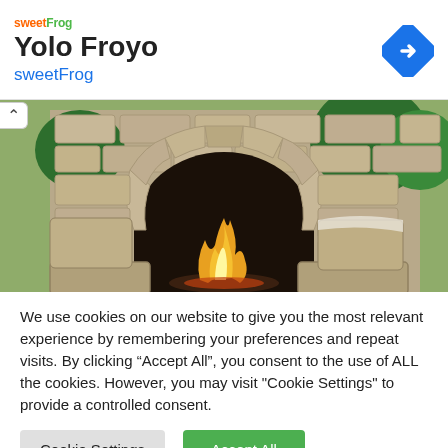Yolo Froyo
sweetFrog
[Figure (photo): Outdoor stone fireplace with fire burning inside an arched stone opening, surrounded by natural stone masonry and green trees in the background]
We use cookies on our website to give you the most relevant experience by remembering your preferences and repeat visits. By clicking “Accept All”, you consent to the use of ALL the cookies. However, you may visit "Cookie Settings" to provide a controlled consent.
Cookie Settings | Accept All